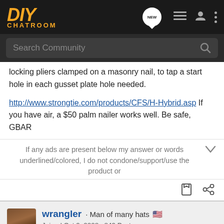[Figure (screenshot): DIY Chatroom website header with logo, search bar, and navigation icons]
locking pliers clamped on a masonry nail, to tap a start hole in each gusset plate hole needed.
http://www.strongtie.com/products/CFS/H-Hybrid.asp If you have air, a $50 palm nailer works well. Be safe, GBAR
If any ads are present below my answer or words underlined/colored, I do not condone/support/use the product or
wrangler · Man of many hats 🇺🇸
Joined Oct 9, 2008 · 849 Posts
#4   Apr 4, 2009